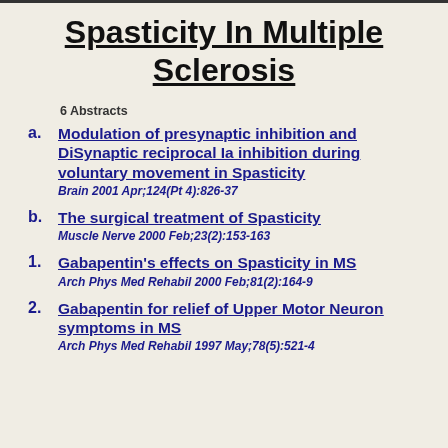Spasticity In Multiple Sclerosis
6 Abstracts
a. Modulation of presynaptic inhibition and DiSynaptic reciprocal Ia inhibition during voluntary movement in Spasticity
Brain 2001 Apr;124(Pt 4):826-37
b. The surgical treatment of Spasticity
Muscle Nerve 2000 Feb;23(2):153-163
1. Gabapentin's effects on Spasticity in MS
Arch Phys Med Rehabil 2000 Feb;81(2):164-9
2. Gabapentin for relief of Upper Motor Neuron symptoms in MS
Arch Phys Med Rehabil 1997 May;78(5):521-4